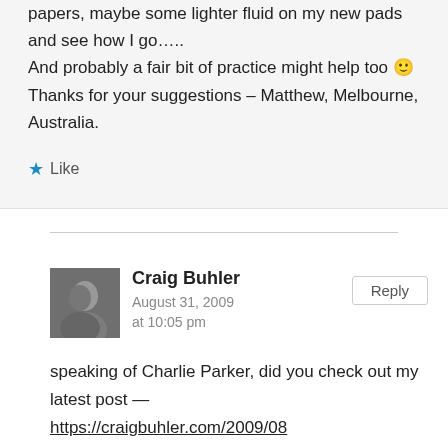papers, maybe some lighter fluid on my new pads and see how I go…..
And probably a fair bit of practice might help too 🙂
Thanks for your suggestions – Matthew, Melbourne, Australia.
★ Like
Craig Buhler
August 31, 2009 at 10:05 pm
Reply
speaking of Charlie Parker, did you check out my latest post — https://craigbuhler.com/2009/08/22/lick-from-birds-solo-on-